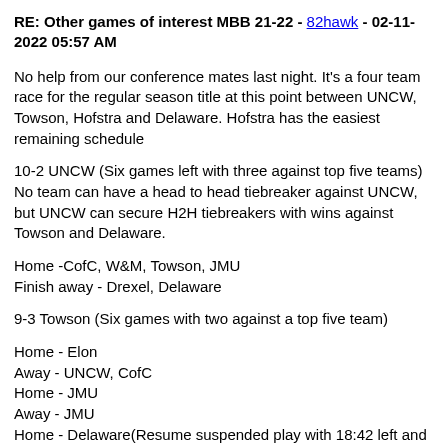RE: Other games of interest MBB 21-22 - 82hawk - 02-11-2022 05:57 AM
No help from our conference mates last night. It's a four team race for the regular season title at this point between UNCW, Towson, Hofstra and Delaware. Hofstra has the easiest remaining schedule
10-2 UNCW (Six games left with three against top five teams) No team can have a head to head tiebreaker against UNCW, but UNCW can secure H2H tiebreakers with wins against Towson and Delaware.
Home -CofC, W&M, Towson, JMU
Finish away - Drexel, Delaware
9-3 Towson (Six games with two against a top five team)
Home - Elon
Away - UNCW, CofC
Home - JMU
Away - JMU
Home - Delaware(Resume suspended play with 18:42 left and Delaware leading 38-29)
8-4 Hofstra(six games with one against a top 5 team)
At Delaware, At Elon
Then finish with four at home: Northeastern, Elon, W&M, CofC
7-4 Delaware (Seven games with three against the top 5)